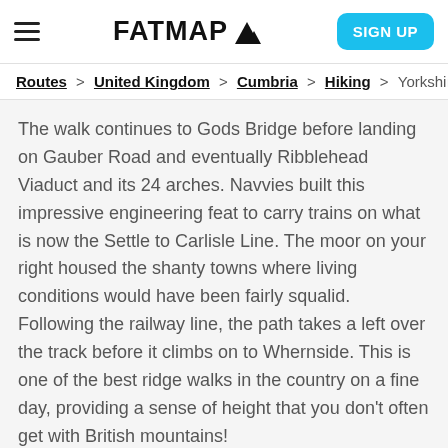FATMAP  SIGN UP
Routes > United Kingdom > Cumbria > Hiking > Yorkshire
The walk continues to Gods Bridge before landing on Gauber Road and eventually Ribblehead Viaduct and its 24 arches. Navvies built this impressive engineering feat to carry trains on what is now the Settle to Carlisle Line. The moor on your right housed the shanty towns where living conditions would have been fairly squalid. Following the railway line, the path takes a left over the track before it climbs on to Whernside. This is one of the best ridge walks in the country on a fine day, providing a sense of height that you don't often get with British mountains!
Next on the route is Southerscales and its limestone pavement (and wonderful autumnal sunsets!). Then, you'll reach High Lot and the steep climb to the summit